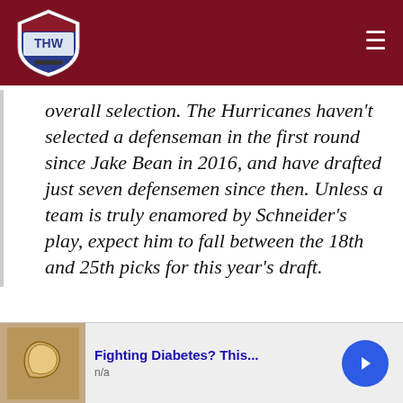THW - The Hockey Writers
overall selection. The Hurricanes haven't selected a defenseman in the first round since Jake Bean in 2016, and have drafted just seven defensemen since then. Unless a team is truly enamored by Schneider's play, expect him to fall between the 18th and 25th picks for this year's draft.
Today's NHL defenseman is also expected to contribute on the offensive end. While Schneider is no slouch with the puck, he will have to improve in this aspect if he wants earn power
[Figure (other): Advertisement banner: Fighting Diabetes? This... n/a with cashew nut image and blue arrow button]